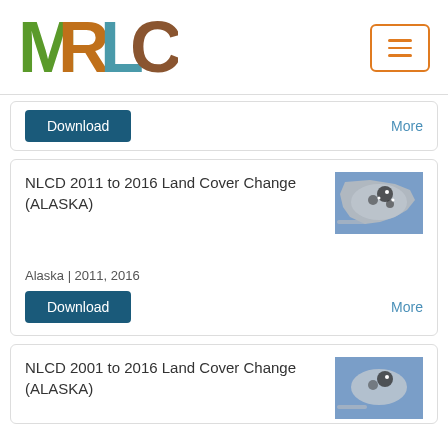[Figure (logo): MRLC logo with nature-themed letters]
[Figure (other): Hamburger menu button with orange border]
Download  More
NLCD 2011 to 2016 Land Cover Change (ALASKA)
[Figure (map): Map thumbnail of Alaska showing land cover change in blue/grey tones]
Alaska | 2011, 2016
Download  More
NLCD 2001 to 2016 Land Cover Change (ALASKA)
[Figure (map): Map thumbnail of Alaska for 2001-2016 land cover change]